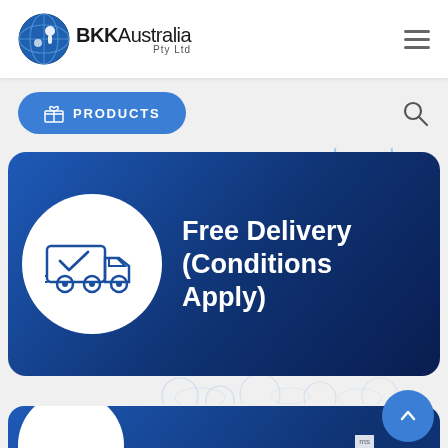[Figure (logo): BKK Australia Pty Ltd logo with blue circular icon and text]
[Figure (infographic): Navigation bar with PRODUCTS button and search icon]
[Figure (infographic): Free Delivery (Conditions Apply) banner with truck icon in white circle on blue gradient background]
[Figure (other): Bottom blue card peeking with white circle and scroll-to-top button]